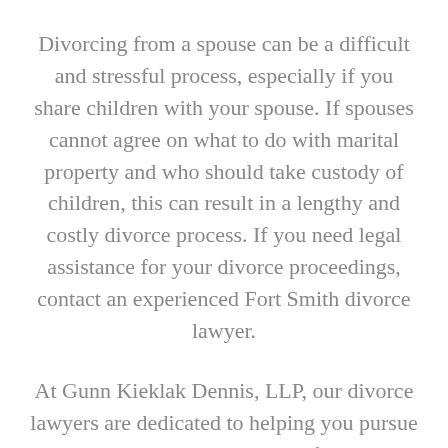Divorcing from a spouse can be a difficult and stressful process, especially if you share children with your spouse. If spouses cannot agree on what to do with marital property and who should take custody of children, this can result in a lengthy and costly divorce process. If you need legal assistance for your divorce proceedings, contact an experienced Fort Smith divorce lawyer.
At Gunn Kieklak Dennis, LLP, our divorce lawyers are dedicated to helping you pursue the most desirable outcome for your divorce. Our legal team understands how a divorce could seriously impact a family's dynamic…